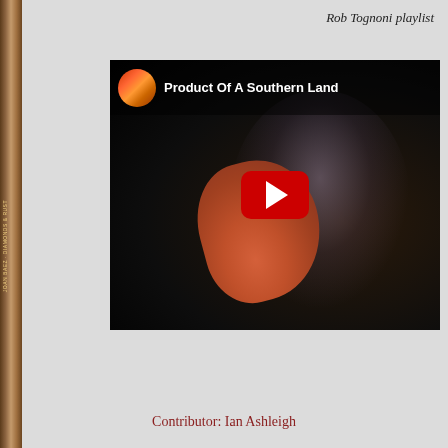Rob Tognoni playlist
[Figure (screenshot): YouTube video thumbnail showing a guitarist playing a red/orange electric guitar on a dark stage, with the video title 'Product Of A Southern Land' visible at the top and a YouTube play button overlay in the center.]
Contributor: Ian Ashleigh